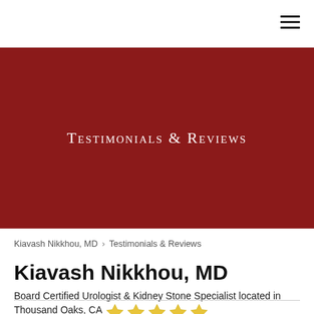[Figure (other): Dark red hero banner with text 'Testimonials & Reviews' in white serif small-caps font]
Testimonials & Reviews
Kiavash Nikkhou, MD > Testimonials & Reviews
Kiavash Nikkhou, MD
Board Certified Urologist & Kidney Stone Specialist located in Thousand Oaks, CA